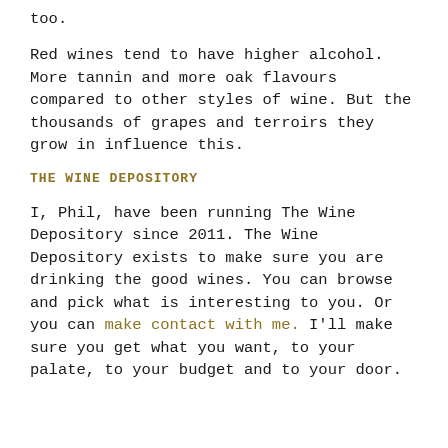too.
Red wines tend to have higher alcohol. More tannin and more oak flavours compared to other styles of wine. But the thousands of grapes and terroirs they grow in influence this.
THE WINE DEPOSITORY
I, Phil, have been running The Wine Depository since 2011. The Wine Depository exists to make sure you are drinking the good wines. You can browse and pick what is interesting to you. Or you can make contact with me. I'll make sure you get what you want, to your palate, to your budget and to your door.